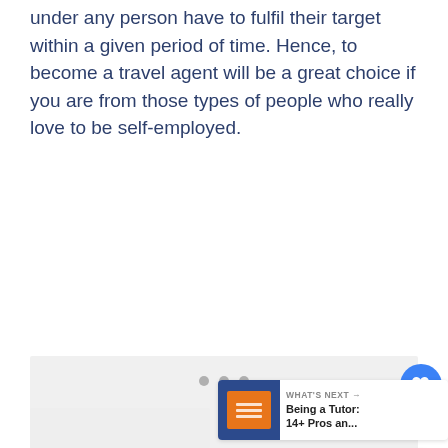under any person have to fulfil their target within a given period of time. Hence, to become a travel agent will be a great choice if you are from those types of people who really love to be self-employed.
[Figure (other): A light gray placeholder image area, with three small gray dots below it indicating a carousel/slideshow. A like button (heart icon, blue), share button, and count of 1 appear on the right side. A 'What's Next' card in the bottom right shows a thumbnail and text 'Being a Tutor: 14+ Pros an...']